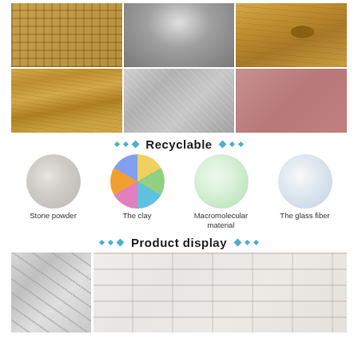[Figure (photo): Grid of 6 texture/material photos: waffle pattern, brushed metal, wood knot, wood grain, silver cross-hatch, pink/red surface]
Recyclable
[Figure (photo): Four circular images of recyclable materials: Stone powder (white powder), The clay (colorful clay blocks), Macromolecular material (white granules), The glass fiber (transparent fiber)]
Product display
[Figure (photo): Two product display photos: left shows angled brick panel texture, right shows white brick wall panel]